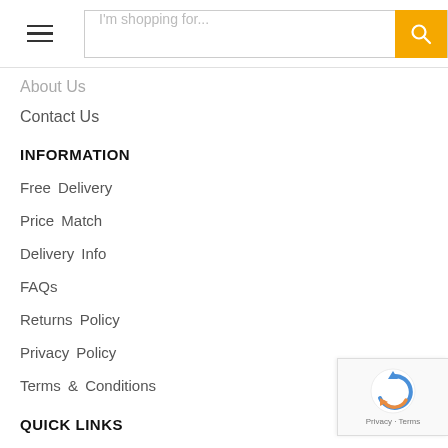I'm shopping for...
About Us
Contact Us
INFORMATION
Free Delivery
Price Match
Delivery Info
FAQs
Returns Policy
Privacy Policy
Terms & Conditions
QUICK LINKS